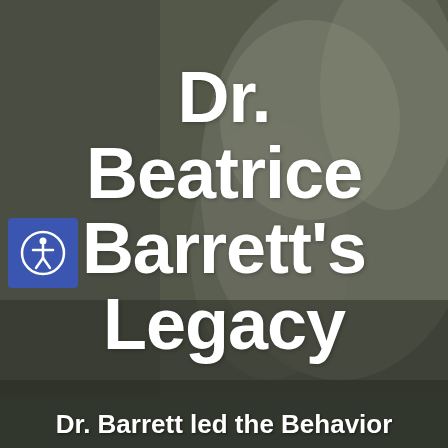[Figure (photo): Blurred dark olive/grey toned background photograph of a person, used as a cover image background]
Dr. Beatrice Barrett's Legacy
Dr. Barrett led the Behavior